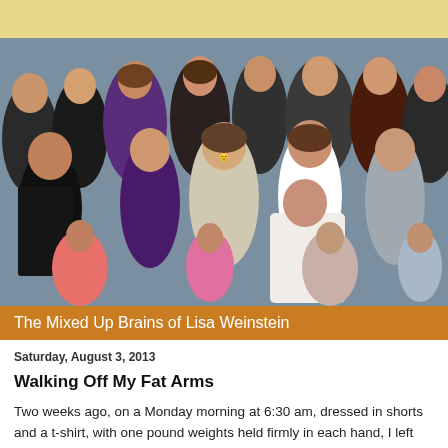[Figure (photo): Group photo of a large family at a wedding, including a bride in a white dress, groom in tuxedo, and many smiling guests dressed in formal attire.]
The Mixed Up Brains of Lisa Weinstein
Saturday, August 3, 2013
Walking Off My Fat Arms
Two weeks ago, on a Monday morning at 6:30 am, dressed in shorts and a t-shirt, with one pound weights held firmly in each hand, I left my house and began my brisk walk through